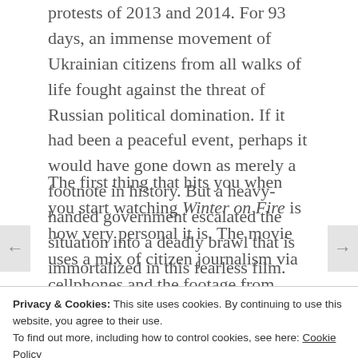protests of 2013 and 2014. For 93 days, an immense movement of Ukrainian citizens from all walks of life fought against the threat of Russian political domination. If it had been a peaceful event, perhaps it would have gone down as merely a footnote in history. But a heavy-handed government escalated the situation into a deadly brawl that is immortalized in this fearless film.
The first thing that hits you when you start watching Winter on Fire is how very personal it is. The movie uses a mix of citizen journalism via cellphones and the footage from professional journalists who were right in the thick of things, even when bullets started flying. You see
Privacy & Cookies: This site uses cookies. By continuing to use this website, you agree to their use.
To find out more, including how to control cookies, see here: Cookie Policy
Close and accept
Ukrainian President makes a back-room deal with